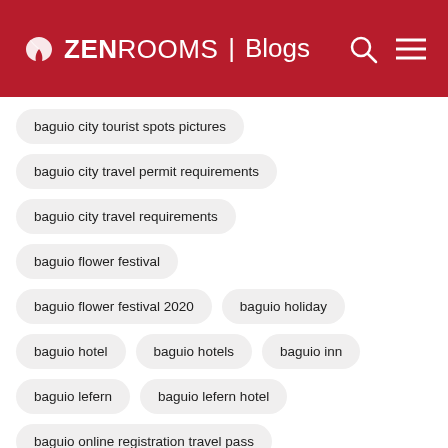ZEN ROOMS | Blogs
baguio city tourist spots pictures
baguio city travel permit requirements
baguio city travel requirements
baguio flower festival
baguio flower festival 2020
baguio holiday
baguio hotel
baguio hotels
baguio inn
baguio lefern
baguio lefern hotel
baguio online registration travel pass
baguio places to visit